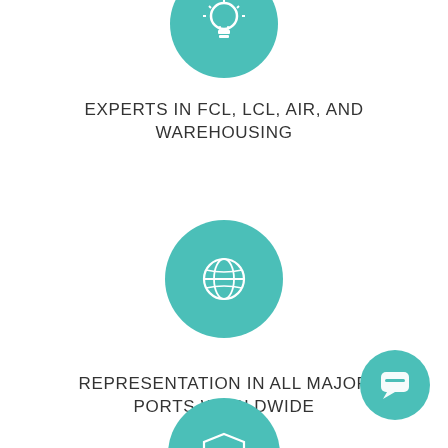[Figure (infographic): Teal circle icon with lightbulb symbol at top of page (partially cropped)]
EXPERTS IN FCL, LCL, AIR, AND WAREHOUSING
[Figure (infographic): Teal circle icon with globe/world symbol in center of page]
REPRESENTATION IN ALL MAJOR PORTS WORLDWIDE
[Figure (infographic): Teal circle icon with number 1 / badge symbol at bottom of page (partially cropped)]
[Figure (infographic): Teal chat bubble button at bottom right corner]